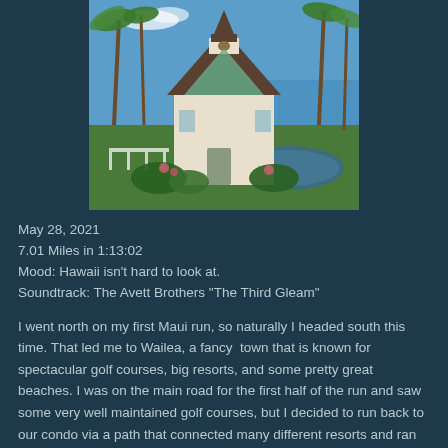[Figure (photo): Photograph of a small white chapel with a dark shingled A-frame roof and a bell tower/steeple, with large glass windows, surrounded by tropical palm trees, green landscaping, a small pond, and a blue ocean and sky in the background. Appears to be a resort chapel in Wailea, Maui, Hawaii.]
May 28, 2021
7.01 Miles in 1:13:02
Mood: Hawaii isn't hard to look at.
Soundtrack: The Avett Brothers "The Third Gleam"
I went north on my first Maui run, so naturally I headed south this time. That led me to Wailea, a fancy  town that is known for spectacular golf courses, big resorts, and some pretty great beaches. I was on the main road for the first half of the run and saw some very well maintained golf courses, but I decided to run back to our condo via a path that connected many different resorts and ran right along the beach. This